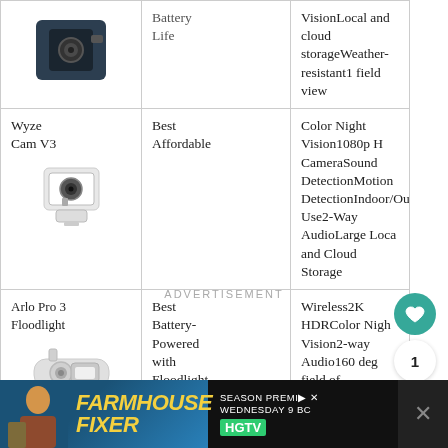| Product | Category | Features |
| --- | --- | --- |
| [Camera image] Battery Life | Battery Life | VisionLocal and cloud storageWeather-resistant1 field view |
| Wyze Cam V3 [camera image] | Best Affordable | Color Night Vision1080p HD CameraSound DetectionMotion DetectionIndoor/Outdoor Use2-Way AudioLarge Local and Cloud Storage |
| Arlo Pro 3 Floodlight [camera image] | Best Battery-Powered with Floodlight | Wireless2K HDRColor Night Vision2-way Audio160 deg field of viewRechargeable batteriesFloodlightsSirenZoom in Feature |
ADVERTISEMENT
[Figure (photo): Bottom ad banner for Farmhouse Fixer on HGTV, Season Premiere Wednesday 9 BC]